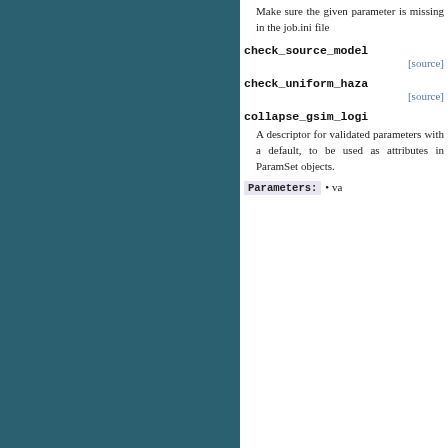Make sure the given parameter is missing in the job.ini file
check_source_model
[source]
check_uniform_haza
[source]
collapse_gsim_logi
A descriptor for validated parameters with a default, to be used as attributes in ParamSet objects.
Parameters: • va